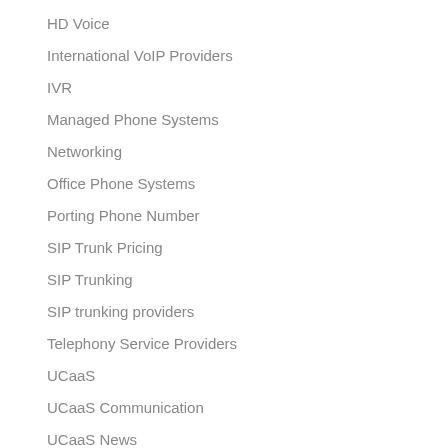HD Voice
International VoIP Providers
IVR
Managed Phone Systems
Networking
Office Phone Systems
Porting Phone Number
SIP Trunk Pricing
SIP Trunking
SIP trunking providers
Telephony Service Providers
UCaaS
UCaaS Communication
UCaaS News